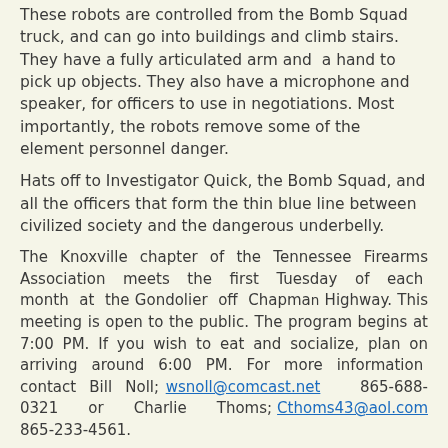These robots are controlled from the Bomb Squad truck, and can go into buildings and climb stairs. They have a fully articulated arm and a hand to pick up objects. They also have a microphone and speaker, for officers to use in negotiations. Most importantly, the robots remove some of the element personnel danger.
Hats off to Investigator Quick, the Bomb Squad, and all the officers that form the thin blue line between civilized society and the dangerous underbelly.
The Knoxville chapter of the Tennessee Firearms Association meets the first Tuesday of each month at the Gondolier off Chapman Highway. This meeting is open to the public. The program begins at 7:00 PM. If you wish to eat and socialize, plan on arriving around 6:00 PM. For more information contact Bill Noll; wsnoll@comcast.net 865-688-0321 or Charlie Thoms; Cthoms43@aol.com 865-233-4561.
Reading List